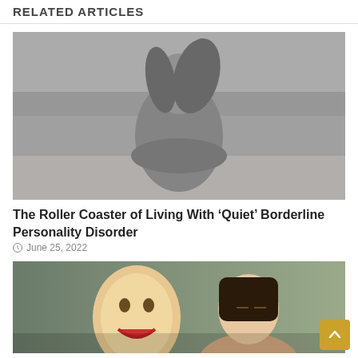RELATED ARTICLES
[Figure (photo): Black and white photo of a woman hugging herself on a beach, hair blowing in the wind]
The Roller Coaster of Living With ‘Quiet’ Borderline Personality Disorder
June 25, 2022
[Figure (photo): Color photo showing a woman holding a smiling face mask in front of her, while her real face shows a sad or neutral expression, illustrating dual personality or emotional mask concept]